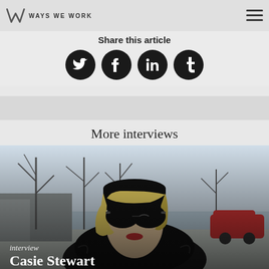WAYS WE WORK
Share this article
[Figure (infographic): Four social media share buttons as dark circular icons: Twitter (bird icon), Facebook (f icon), LinkedIn (in icon), Tumblr (t icon)]
More interviews
[Figure (photo): Outdoor winter photo of a woman with blonde hair, wearing dark sunglasses, a black beanie hat, and a dark fur-collared coat. Bare trees and a parking lot visible in the background. Text overlay reads 'interview' and 'Casie Stewart'.]